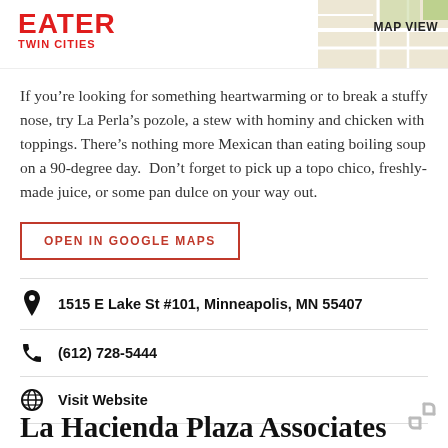EATER TWIN CITIES
If you're looking for something heartwarming or to break a stuffy nose, try La Perla's pozole, a stew with hominy and chicken with toppings. There's nothing more Mexican than eating boiling soup on a 90-degree day. Don't forget to pick up a topo chico, freshly-made juice, or some pan dulce on your way out.
OPEN IN GOOGLE MAPS
1515 E Lake St #101, Minneapolis, MN 55407
(612) 728-5444
Visit Website
La Hacienda Plaza Associates